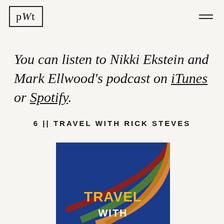PWT
You can listen to Nikki Ekstein and Mark Ellwood's podcast on iTunes or Spotify.
6 || TRAVEL WITH RICK STEVES
[Figure (illustration): Podcast cover art for 'Travel With Rick Steves' showing colorful concentric arcs (red, green, blue, orange) on a dark blue background with the text TRAVEL WITH in large yellow/white letters at the bottom.]